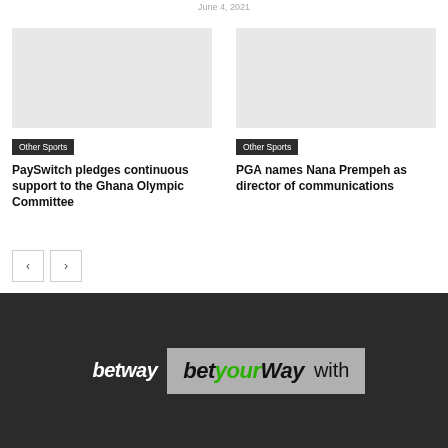June 4, 2021
Other Sports
PaySwitch pledges continuous support to the Ghana Olympic Committee
Other Sports
PGA names Nana Prempeh as director of communications
[Figure (logo): Betway logo and betyourway with branding banner on dark background]